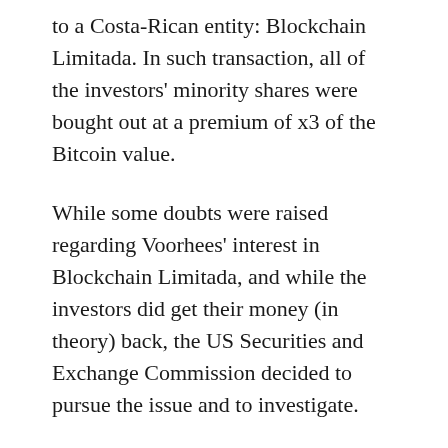to a Costa-Rican entity: Blockchain Limitada. In such transaction, all of the investors' minority shares were bought out at a premium of x3 of the Bitcoin value.
While some doubts were raised regarding Voorhees' interest in Blockchain Limitada, and while the investors did get their money (in theory) back, the US Securities and Exchange Commission decided to pursue the issue and to investigate.
This was following the SEC's warning [external link] on investments and virtual currency, where the shady practices of the cryptocurrency market were already set up.
The Securities and Exchange Commission decided [external link] that Voorhees' actions were illegal, made without a [continues]